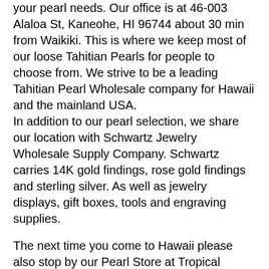your pearl needs. Our office is at 46-003 Alaloa St, Kaneohe, HI 96744 about 30 min from Waikiki. This is where we keep most of our loose Tahitian Pearls for people to choose from. We strive to be a leading Tahitian Pearl Wholesale company for Hawaii and the mainland USA.
In addition to our pearl selection, we share our location with Schwartz Jewelry Wholesale Supply Company. Schwartz carries 14K gold findings, rose gold findings and sterling silver. As well as jewelry displays, gift boxes, tools and engraving supplies.
The next time you come to Hawaii please also stop by our Pearl Store at Tropical Farms (Macadamia Nut Farm) at 49-227 Kamehameha Hwy # A, Kaneohe, HI 96744. We are open everyday including Saturday and Sunday 9am to 5pm and have thousands of loose pearls to